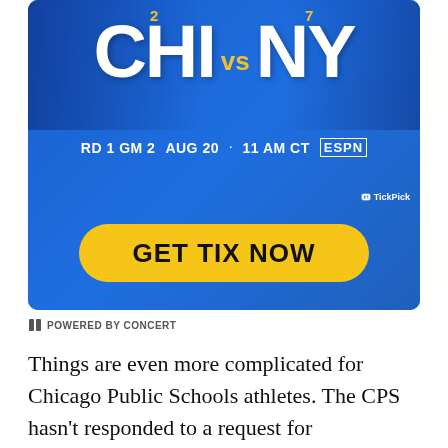[Figure (other): Sports betting advertisement showing CHI vs NY matchup. Seed #2 Chicago vs Seed #7 New York. RD 1 GM 2, AUG 20 · 11 AM CT on ESPN. TickPick branding. Yellow 'GET TIX NOW' button on blue background.]
POWERED BY CONCERT
Things are even more complicated for Chicago Public Schools athletes. The CPS hasn't responded to a request for information on what the IDPH and IHSA moves mean for Public League sports.